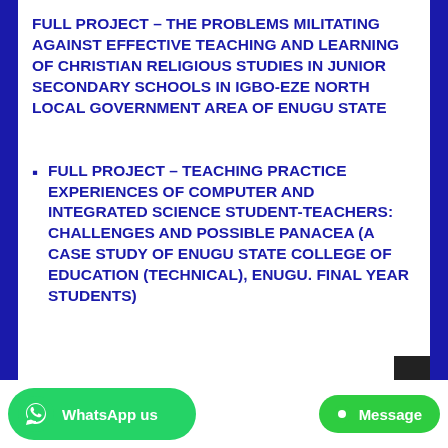FULL PROJECT – THE PROBLEMS MILITATING AGAINST EFFECTIVE TEACHING AND LEARNING OF CHRISTIAN RELIGIOUS STUDIES IN JUNIOR SECONDARY SCHOOLS IN IGBO-EZE NORTH LOCAL GOVERNMENT AREA OF ENUGU STATE
FULL PROJECT – TEACHING PRACTICE EXPERIENCES OF COMPUTER AND INTEGRATED SCIENCE STUDENT-TEACHERS: CHALLENGES AND POSSIBLE PANACEA (A CASE STUDY OF ENUGU STATE COLLEGE OF EDUCATION (TECHNICAL), ENUGU. FINAL YEAR STUDENTS)